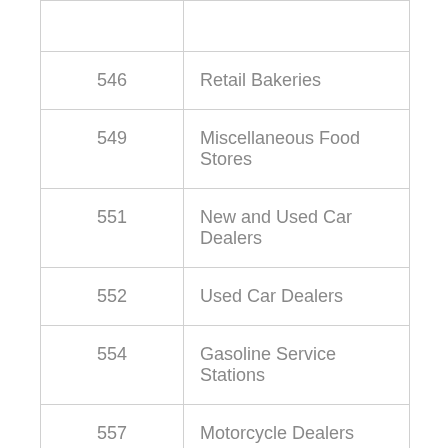| Code | Description |
| --- | --- |
|  |  |
| 546 | Retail Bakeries |
| 549 | Miscellaneous Food Stores |
| 551 | New and Used Car Dealers |
| 552 | Used Car Dealers |
| 554 | Gasoline Service Stations |
| 557 | Motorcycle Dealers |